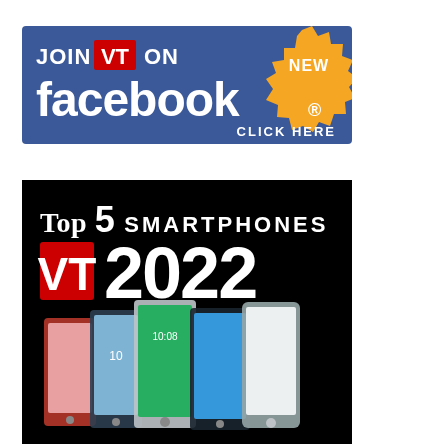[Figure (illustration): Facebook promotional banner with blue background. Text reads 'JOIN VT ON facebook. CLICK HERE' with an orange starburst badge saying 'NEW'. VT is shown in a red box with white letters.]
[Figure (illustration): Black banner image for 'Top 5 Smartphones VT 2022' with images of five smartphones displayed side by side below the text.]